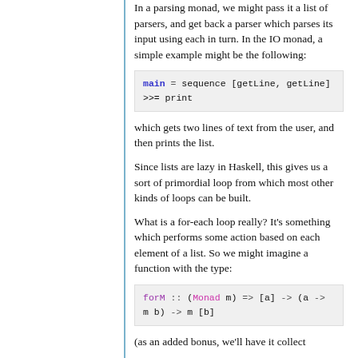In a parsing monad, we might pass it a list of parsers, and get back a parser which parses its input using each in turn. In the IO monad, a simple example might be the following:
which gets two lines of text from the user, and then prints the list.
Since lists are lazy in Haskell, this gives us a sort of primordial loop from which most other kinds of loops can be built.
What is a for-each loop really? It's something which performs some action based on each element of a list. So we might imagine a function with the type:
(as an added bonus, we'll have it collect